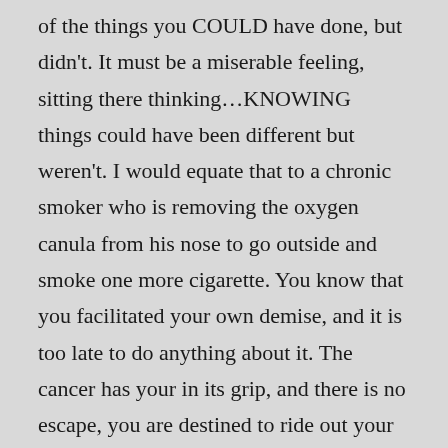of the things you COULD have done, but didn't. It must be a miserable feeling, sitting there thinking…KNOWING things could have been different but weren't. I would equate that to a chronic smoker who is removing the oxygen canula from his nose to go outside and smoke one more cigarette. You know that you facilitated your own demise, and it is too late to do anything about it. The cancer has your in its grip, and there is no escape, you are destined to ride out your days riddled with regret and a diminished version of yourself. Sounds awful. And completely worth avoiding…